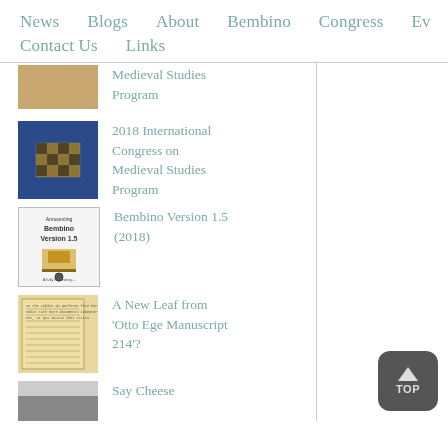News   Blogs   About   Bembino   Congress   Ev
Contact Us   Links
Medieval Studies Program
2018 International Congress on Medieval Studies Program
Bembino Version 1.5 (2018)
A New Leaf from 'Otto Ege Manuscript 214'?
Say Cheese